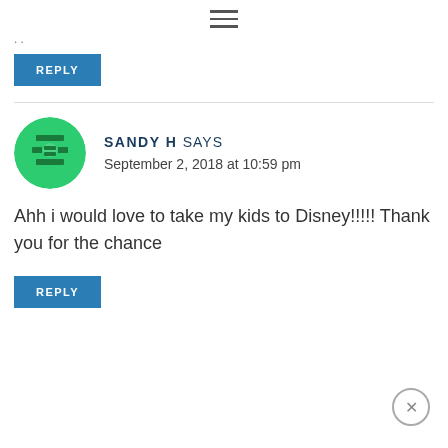≡
…
REPLY
SANDY H SAYS
September 2, 2018 at 10:59 pm
Ahh i would love to take my kids to Disney!!!!! Thank you for the chance
REPLY